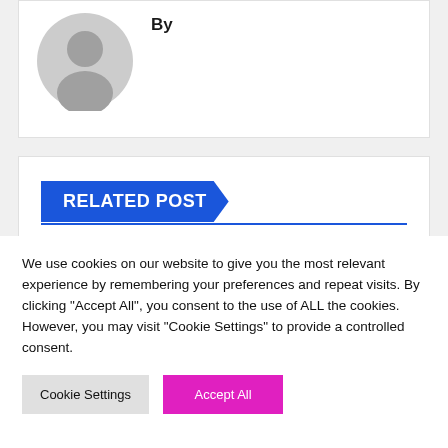By
[Figure (illustration): Gray default user avatar circle with silhouette]
RELATED POST
[Figure (photo): Dark automotive image, partially visible vehicle]
We use cookies on our website to give you the most relevant experience by remembering your preferences and repeat visits. By clicking “Accept All”, you consent to the use of ALL the cookies. However, you may visit "Cookie Settings" to provide a controlled consent.
Cookie Settings
Accept All